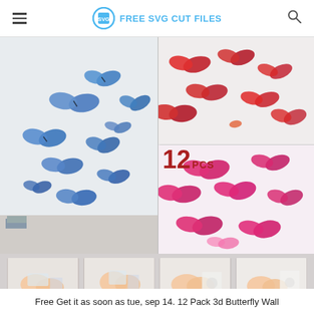FREE SVG CUT FILES
[Figure (photo): Product photos of 3D butterfly wall stickers — large left image shows blue butterflies arranged on a wall, top-right shows red butterflies, bottom-right shows pink/magenta butterflies. Center shows '12 PCS' text. Below are 4 thumbnail step-by-step application photos.]
Free Get it as soon as tue, sep 14. 12 Pack 3d Butterfly Wall